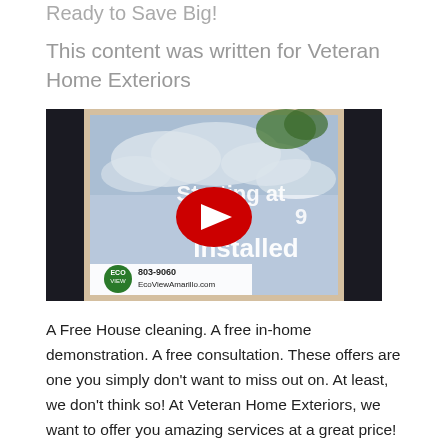Ready to Save Big!
This content was written for Veteran Home Exteriors
[Figure (screenshot): YouTube video thumbnail showing a window with text 'Starting at 9 Installed' and a red YouTube play button. Bottom left shows EcoView logo with '803-9060 EcoViewAmarillo.com']
A Free House cleaning. A free in-home demonstration. A free consultation. These offers are one you simply don't want to miss out on. At least, we don't think so! At Veteran Home Exteriors, we want to offer you amazing services at a great price! Do you enjoy saving